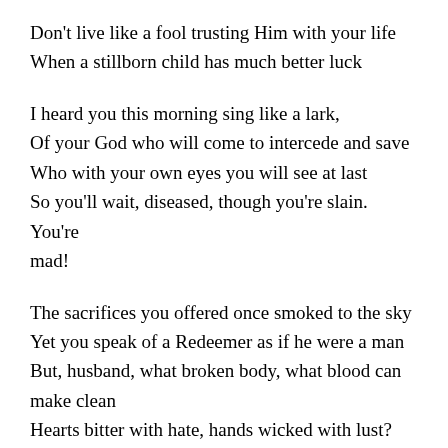Don't live like a fool trusting Him with your life
When a stillborn child has much better luck
I heard you this morning sing like a lark,
Of your God who will come to intercede and save
Who with your own eyes you will see at last
So you'll wait, diseased, though you're slain. You're mad!
The sacrifices you offered once smoked to the sky
Yet you speak of a Redeemer as if he were a man
But, husband, what broken body, what blood can make clean
Hearts bitter with hate, hands wicked with lust?
This God that you worship is too holy, too proud